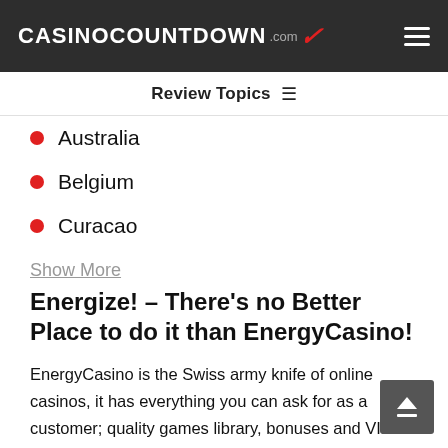CASINOCOUNTDOWN .com
Review Topics
Australia
Belgium
Curacao
Show More
Energize! – There's no Better Place to do it than EnergyCasino!
EnergyCasino is the Swiss army knife of online casinos, it has everything you can ask for as a customer; quality games library, bonuses and VIP rewards, efficient customer service, wide variety of currencies and banking methods and most importantly of all; the casino is secure and reliable, as well as entertaining. There's no EnergyCasino bonus code that can bring you